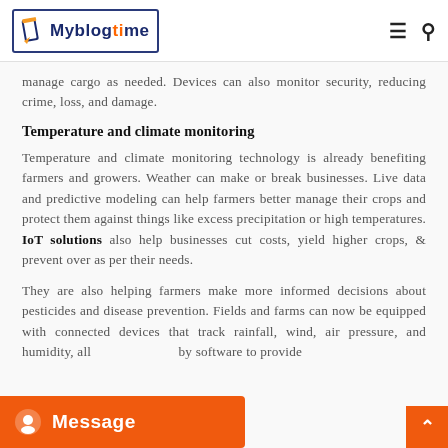Myblogtime
manage cargo as needed. Devices can also monitor security, reducing crime, loss, and damage.
Temperature and climate monitoring
Temperature and climate monitoring technology is already benefiting farmers and growers. Weather can make or break businesses. Live data and predictive modeling can help farmers better manage their crops and protect them against things like excess precipitation or high temperatures. IoT solutions also help businesses cut costs, yield higher crops, & prevent over as per their needs.
They are also helping farmers make more informed decisions about pesticides and disease prevention. Fields and farms can now be equipped with connected devices that track rainfall, wind, air pressure, and humidity, all by software to provide